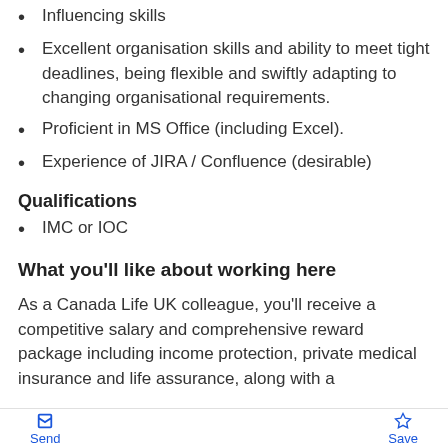Influencing skills
Excellent organisation skills and ability to meet tight deadlines, being flexible and swiftly adapting to changing organisational requirements.
Proficient in MS Office (including Excel).
Experience of JIRA / Confluence (desirable)
Qualifications
IMC or IOC
What you'll like about working here
As a Canada Life UK colleague, you'll receive a competitive salary and comprehensive reward package including income protection, private medical insurance and life assurance, along with a
Send   Save